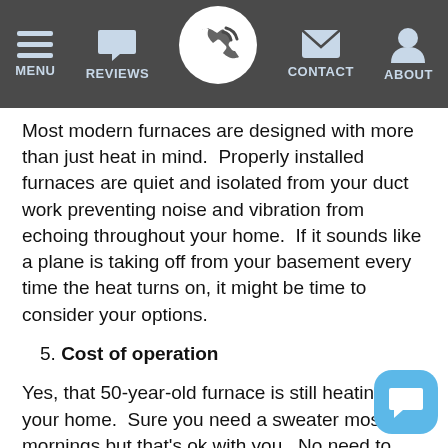MENU | REVIEWS | [CALL] | CONTACT | ABOUT
Most modern furnaces are designed with more than just heat in mind.  Properly installed furnaces are quiet and isolated from your duct work preventing noise and vibration from echoing throughout your home.  If it sounds like a plane is taking off from your basement every time the heat turns on, it might be time to consider your options.
5. Cost of operation
Yes, that 50-year-old furnace is still heating your home.  Sure you need a sweater most mornings but that's ok with you.  No need to